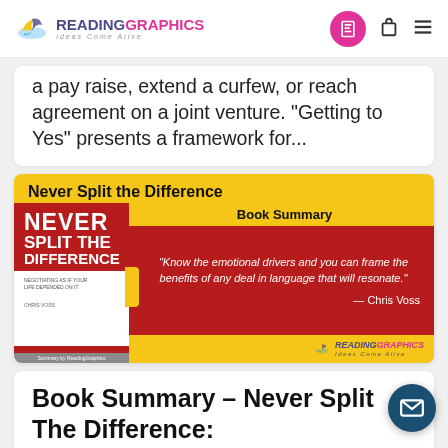READINGRAPHICS Ideas Come Alive
a pay raise, extend a curfew, or reach agreement on a joint venture. "Getting to Yes" presents a framework for...
[Figure (illustration): Never Split the Difference book summary card with yellow background, book cover on left, and quote 'Know the emotional drivers and you can frame the benefits of any deal in language that will resonate.' - Chris Voss on red panel on right. Book Summary label at top right. ReadingGraphics logo at bottom right.]
Book Summary – Never Split The Difference: